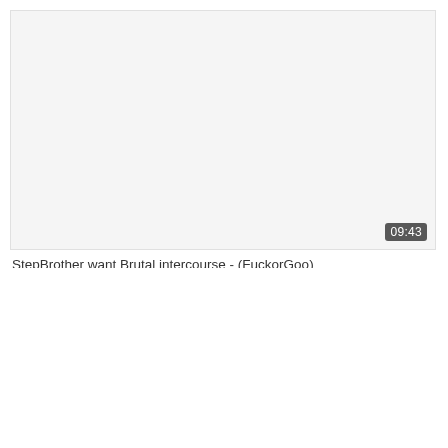[Figure (screenshot): Video thumbnail placeholder — white/light gray rectangle with a video duration badge showing 09:43 in the bottom-right corner]
StepBrother want Brutal intercourse - (FuckorGoo)